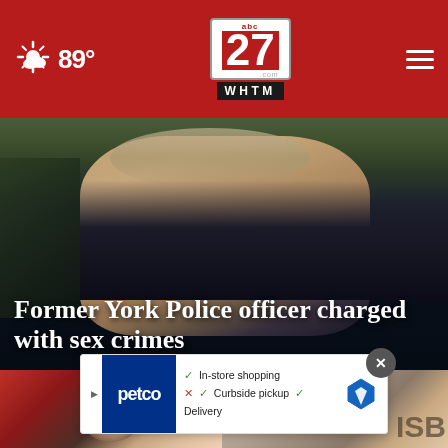abc27 WHTM — 89°
[Figure (photo): Close-up photo of a young white male with a light beard, wearing a dark police uniform shirt, outdoors with a green background]
Former York Police officer charged with sex crimes
[Figure (photo): Two thumbnail images below the main article photo, partially visible. Left thumbnail shows a person. Right thumbnail shows text partially reading 'ISB'.]
[Figure (infographic): Petco advertisement overlay showing logo, checkmarks for 'In-store shopping', 'Curbside pickup', 'Delivery', with a map/navigation icon. Close button (X) visible.]